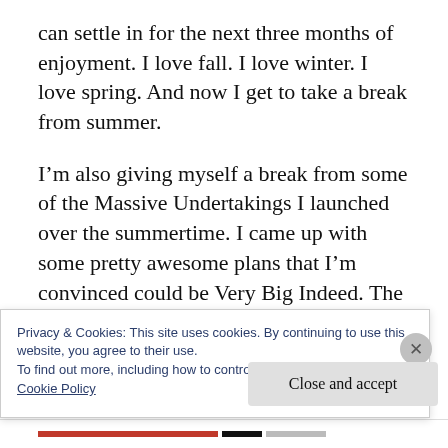can settle in for the next three months of enjoyment. I love fall. I love winter. I love spring. And now I get to take a break from summer.
I’m also giving myself a break from some of the Massive Undertakings I launched over the summertime. I came up with some pretty awesome plans that I’m convinced could be Very Big Indeed. The thing is, I really don’t have the capacity to follow through on all of
Privacy & Cookies: This site uses cookies. By continuing to use this website, you agree to their use.
To find out more, including how to control cookies, see here:
Cookie Policy
Close and accept